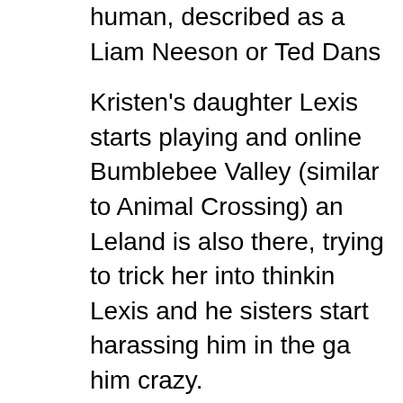human, described as a Liam Neeson or Ted Dans
Kristen's daughter Lexis starts playing and online Bumblebee Valley (similar to Animal Crossing) an Leland is also there, trying to trick her into thinking Lexis and he sisters start harassing him in the ga him crazy.
There are still several mysterious events that our solve.
Driving down a haunted highway (a stre where truckers see visions, and hear de They're driving along singing to the Turtl Together," when they suddenly hear lou radio, they see something with red lights them, and their car shuts down.  When B the car to investigate, Kristen tells him th